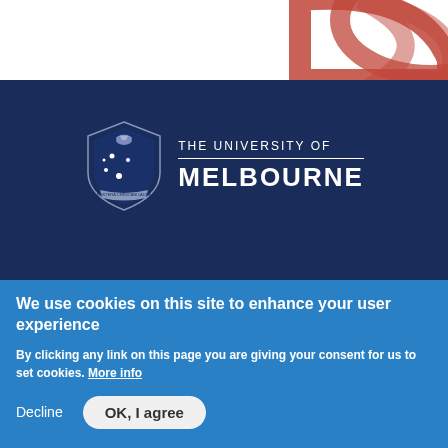[Figure (logo): University of Melbourne logo with shield/crest and text 'THE UNIVERSITY OF MELBOURNE' on dark navy background]
Emergency Information   Disclaimer & Copyright   Accessibility   Privacy
[Figure (illustration): Social media icons: Facebook, Twitter, LinkedIn in white on dark navy background]
We use cookies on this site to enhance your user experience
By clicking any link on this page you are giving your consent for us to set cookies. More info
Decline   OK, I agree